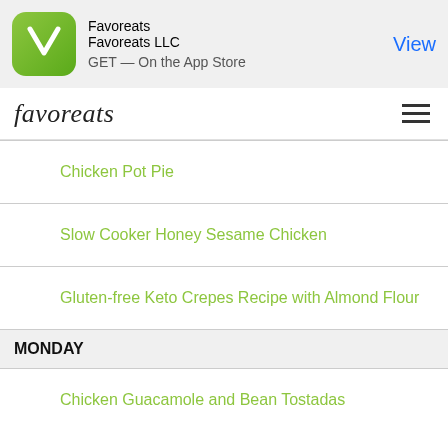[Figure (screenshot): Favoreats app banner with green icon, app name Favoreats, developer Favoreats LLC, GET On the App Store, and View button]
favoreats
Chicken Pot Pie
Slow Cooker Honey Sesame Chicken
Gluten-free Keto Crepes Recipe with Almond Flour
MONDAY
Chicken Guacamole and Bean Tostadas